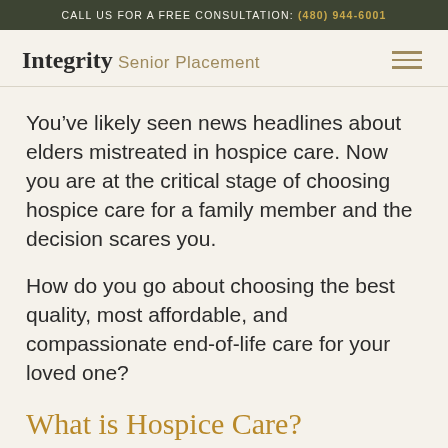CALL US FOR A FREE CONSULTATION: (480) 944-6001
[Figure (logo): Integrity Senior Placement logo with hamburger menu icon]
You’ve likely seen news headlines about elders mistreated in hospice care. Now you are at the critical stage of choosing hospice care for a family member and the decision scares you.
How do you go about choosing the best quality, most affordable, and compassionate end-of-life care for your loved one?
What is Hospice Care?